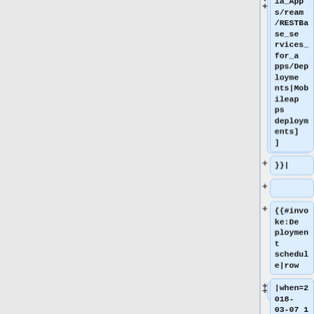[Figure (screenshot): Code diff viewer showing wiki template markup with deployment schedule entries. Left panel is gray/empty. Right panel shows highlighted code blocks with + symbols indicating additions. Code includes: /RESTBase_services_for_apps/Deployments|Mobileapps deployments]], }}|, blank line, {{#invoke:Deployment schedule|row, |when=2018-03-07 16:00 SF, |length=1, |window=]
+ /RESTBase_services_for_apps/Deployments|Mobileapps deployments]]
+ }}|
+
+ {{#invoke:Deployment schedule|row
+ |when=2018-03-07 16:00 SF
+ |length=1
+ |window=